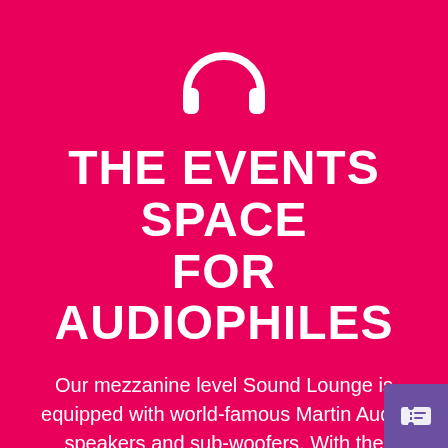[Figure (illustration): White headphones icon on magenta/pink background]
THE EVENTS SPACE FOR AUDIOPHILES
Our mezzanine level Sound Lounge is equipped with world-famous Martin Audio speakers and sub-woofers. With the interactive Pop Golf Soundpad, now you can really make the music pop. Mind blown.
[Figure (logo): White ticket/stub icon on purple square in the bottom right corner]